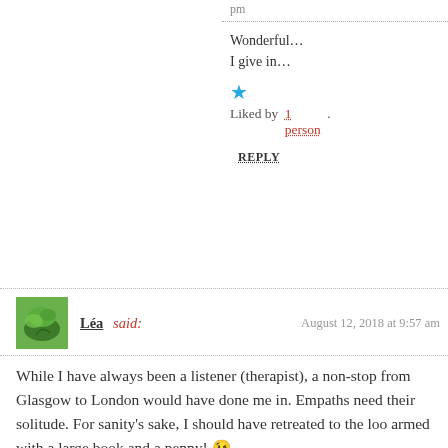pm
Wonderful… I give in…
Liked by 1 person
REPLY
Léa said: August 12, 2018 at 9:57 am
While I have always been a listener (therapist), a non-stop from Glasgow to London would have done me in. Empaths need their solitude. For sanity's sake, I should have retreated to the loo armed with a large book and a penny! 😉
Liked by 2 people
REPLY